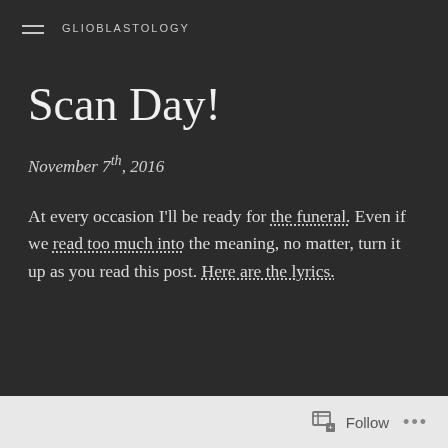GLIOBLASTOLOGY
Scan Day!
November 7th, 2016
At every occasion I'll be ready for the funeral. Even if we read too much into the meaning, no matter, turn it up as you read this post. Here are the lyrics.